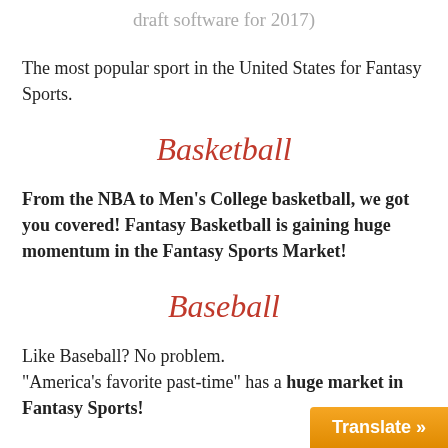draft software for 2017)
The most popular sport in the United States for Fantasy Sports.
Basketball
From the NBA to Men's College basketball, we got you covered! Fantasy Basketball is gaining huge momentum in the Fantasy Sports Market!
Baseball
Like Baseball? No problem. "America's favorite past-time" has a huge market in Fantasy Sports!
Golf
Golf fan? No problem. Golf is a